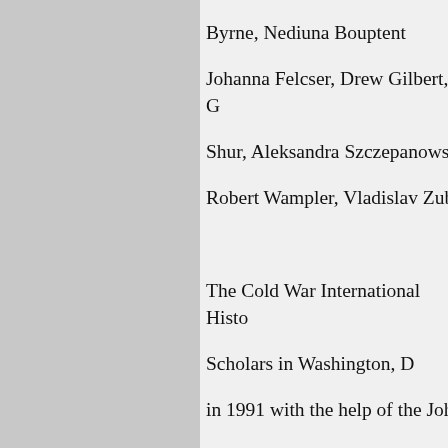Byrne, Nediuna Bouptent Johanna Felcser, Drew Gilbert, G Shur, Aleksandra Szczepanows Robert Wampler, Vladislav Zubo

The Cold War International Histo Scholars in Washington, D in 1991 with the help of the John from the MacArthur Foundat and the Smith Richardson Found materials by governments on all of the Cold War, and seeks to dis from previously inaccessi sources on the other side"—the f meetings and conferen Within the Wilson Center, CWIH Litwak. The Director of the C War International History Projec Ostermann. The project is overs by an advisory committee chaire Beschloss; Dr. James Billing (Librarian of Congress); Prof. W Gaddis (Yale University); Samuel F. Wells, Jr. (Deputy Dir